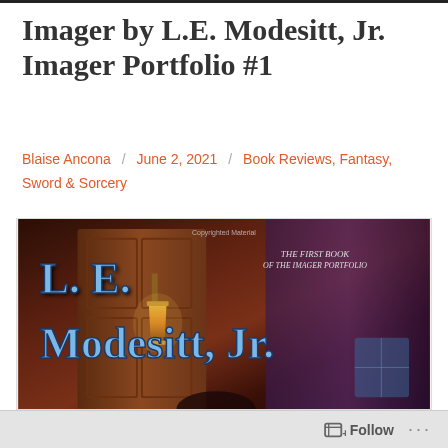Imager by L.E. Modesitt, Jr. Imager Portfolio #1
Blaise Ancona / June 2, 2021 / Book Reviews, Fantasy, Sword & Sorcery
[Figure (photo): Book cover of 'Imager' by L.E. Modesitt, Jr. — The First Book of the Imager Portfolio. Shows the author name in large blue letters against a dark fantasy background with a ornate lamp, wooden door, and purple curtain.]
Follow